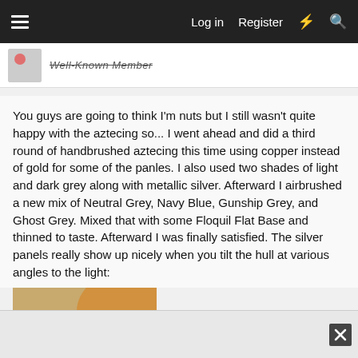Log in  Register
Well-Known Member
You guys are going to think I'm nuts but I still wasn't quite happy with the aztecing so... I went ahead and did a third round of handbrushed aztecing this time using copper instead of gold for some of the panles. I also used two shades of light and dark grey along with metallic silver. Afterward I airbrushed a new mix of Neutral Grey, Navy Blue, Gunship Grey, and Ghost Grey. Mixed that with some Floquil Flat Base and thinned to taste. Afterward I was finally satisfied. The silver panels really show up nicely when you tilt the hull at various angles to the light:
[Figure (photo): Close-up photo of a model hull showing painted panels with warm tan/gold tones]
Advertisement close button